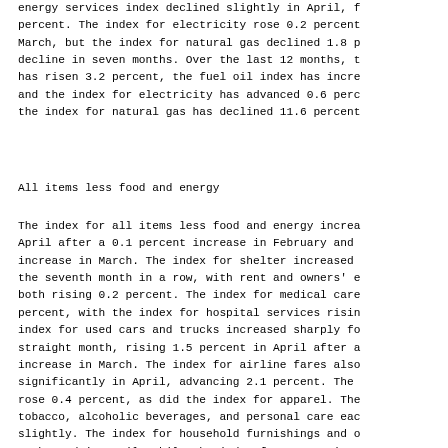energy services index declined slightly in April, f percent. The index for electricity rose 0.2 percent March, but the index for natural gas declined 1.8 p decline in seven months. Over the last 12 months, t has risen 3.2 percent, the fuel oil index has incre and the index for electricity has advanced 0.6 perc the index for natural gas has declined 11.6 percent
All items less food and energy
The index for all items less food and energy increa April after a 0.1 percent increase in February and increase in March. The index for shelter increased the seventh month in a row, with rent and owners' e both rising 0.2 percent. The index for medical care percent, with the index for hospital services risin index for used cars and trucks increased sharply fo straight month, rising 1.5 percent in April after a increase in March. The index for airline fares also significantly in April, advancing 2.1 percent. The rose 0.4 percent, as did the index for apparel. The tobacco, alcoholic beverages, and personal care eac slightly. The index for household furnishings and o unchanged in April, while the index for recreation as the indexes for video and audio products and for